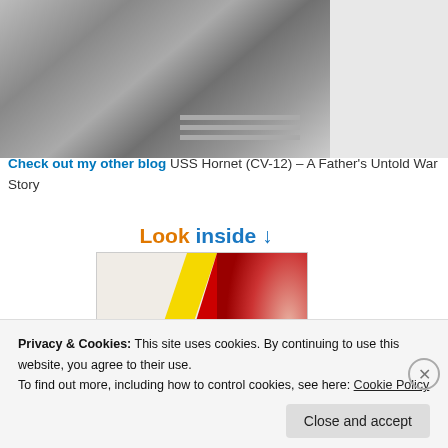[Figure (photo): Black and white close-up photo of a person wearing a sailor uniform with striped collar]
Check out my other blog USS Hornet (CV-12) – A Father's Untold War Story
[Figure (illustration): Look inside arrow graphic with colorful book cover showing hands reaching with yellow, red and dark colors]
Privacy & Cookies: This site uses cookies. By continuing to use this website, you agree to their use.
To find out more, including how to control cookies, see here: Cookie Policy
Close and accept